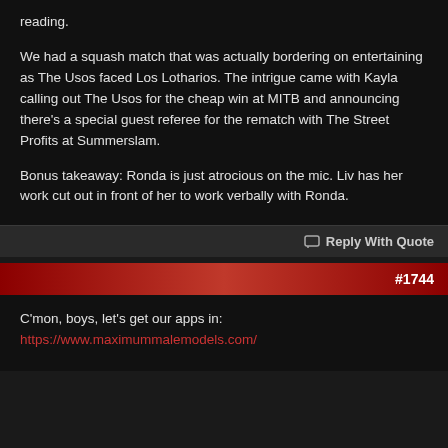reading.

We had a squash match that was actually bordering on entertaining as The Usos faced Los Lotharios. The intrigue came with Kayla calling out The Usos for the cheap win at MITB and announcing there's a special guest referee for the rematch with The Street Profits at Summerslam.

Bonus takeaway: Ronda is just atrocious on the mic. Liv has her work cut out in front of her to work verbally with Ronda.
Reply With Quote
#1744
C'mon, boys, let's get our apps in:
https://www.maximummalemodels.com/